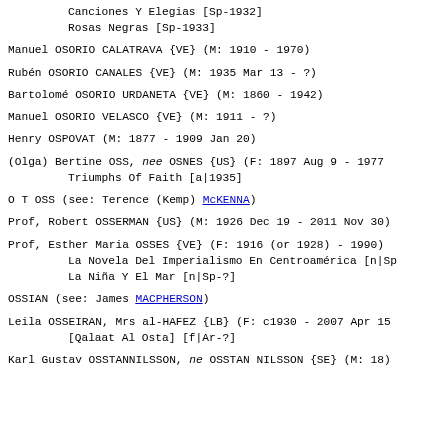Canciones Y Elegias [Sp-1932]
        Rosas Negras [Sp-1933]
Manuel OSORIO CALATRAVA {VE} (M: 1910 - 1970)
Rubén OSORIO CANALES {VE} (M: 1935 Mar 13 - ?)
Bartolomé OSORIO URDANETA {VE} (M: 1860 - 1942)
Manuel OSORIO VELASCO {VE} (M: 1911 - ?)
Henry OSPOVAT (M: 1877 - 1909 Jan 20)
(Olga) Bertine OSS, nee OSNES {US} (F: 1897 Aug 9 - 1977
        Triumphs Of Faith [a|1935]
O T OSS (see: Terence (Kemp) McKENNA)
Prof, Robert OSSERMAN {US} (M: 1926 Dec 19 - 2011 Nov 30)
Prof, Esther Maria OSSES {VE} (F: 1916 (or 1928) - 1990)
        La Novela Del Imperialismo En Centroamérica [n|Sp
        La Niña Y El Mar [n|Sp-?]
OSSIAN (see: James MACPHERSON)
Leila OSSEIRAN, Mrs al-HAFEZ {LB} (F: c1930 - 2007 Apr 15
        [Qalaat Al Osta] [f|Ar-?]
Karl Gustav OSSTANNILSSON, ne OSSTAN NILSSON {SE} (M: 18